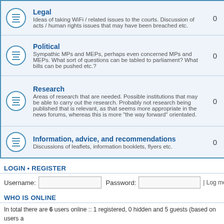| Forum | Posts |
| --- | --- |
| Legal | Ideas of taking WiFi / related issues to the courts. Discussion of acts / human rights issues that may have been breached etc. | 0 |
| Political | Sympathic MPs and MEPs, perhaps even concerned MPs and MEPs. What sort of questions can be tabled to parliament? What bills can be pushed etc.? | 0 |
| Research | Areas of research that are needed. Possible institutions that may be able to carry out the research. Probably not research being published that is relevant, as that seems more appropriate in the news forums, whereas this is more "the way forward" orientated. | 0 |
| Information, advice, and recommendations | Discussions of leaflets, information booklets, flyers etc. | 0 |
LOGIN • REGISTER
Username:  Password:  | Log me on autom
WHO IS ONLINE
In total there are 6 users online :: 1 registered, 0 hidden and 5 guests (based on users a
Most users ever online was 160 on July 31st, 2020, 6:48 pm
Registered users: ToporkUrizebiob
Legend: Administrators, Global moderators
STATISTICS
Total posts 4 • Total topics 2 • Total members 235366 • Our newest member ToporkUriz